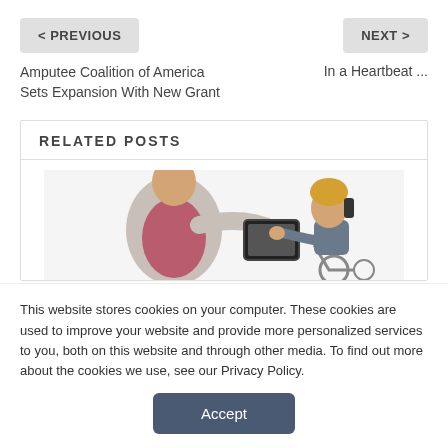< PREVIOUS
NEXT >
Amputee Coalition of America Sets Expansion With New Grant
In a Heartbeat ...
RELATED POSTS
[Figure (photo): Two people, one appears to be a therapist or caregiver handing a tablet device to a child in a wheelchair]
This website stores cookies on your computer. These cookies are used to improve your website and provide more personalized services to you, both on this website and through other media. To find out more about the cookies we use, see our Privacy Policy.
Accept